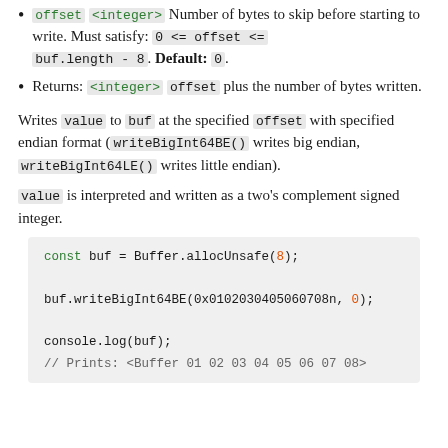offset <integer> Number of bytes to skip before starting to write. Must satisfy: 0 <= offset <= buf.length - 8. Default: 0.
Returns: <integer> offset plus the number of bytes written.
Writes value to buf at the specified offset with specified endian format (writeBigInt64BE() writes big endian, writeBigInt64LE() writes little endian).
value is interpreted and written as a two's complement signed integer.
[Figure (screenshot): Code block showing: const buf = Buffer.allocUnsafe(8); buf.writeBigInt64BE(0x0102030405060708n, 0); console.log(buf); // Prints: <Buffer 01 02 03 04 05 06 07 08>]